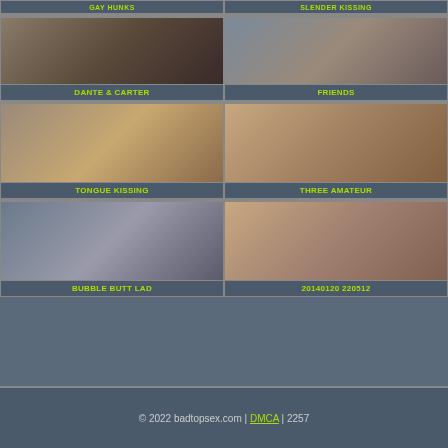[Figure (photo): Top bar with GAY HUNKS and SLENDER KISSING labels]
[Figure (photo): DANTE & CARTER thumbnail - close up kissing]
[Figure (photo): FRIENDS thumbnail - two figures]
[Figure (photo): TONGUE KISSING thumbnail - two figures on bed]
[Figure (photo): THREE AMATEUR thumbnail - two men close up]
[Figure (photo): BUBBLE BUTT LAD thumbnail]
[Figure (photo): 20140120 220512 thumbnail - close up]
© 2022 badtopsex.com | DMCA | 2257